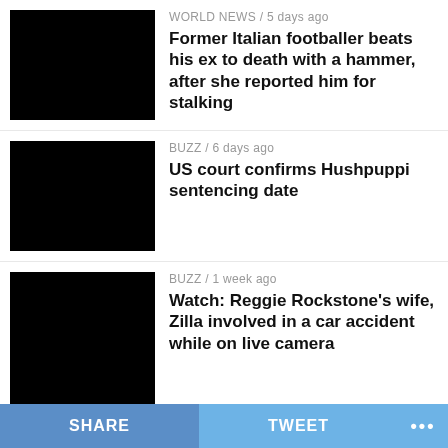[Figure (photo): Black thumbnail image for news item 1]
WORLD NEWS / 5 days ago
Former Italian footballer beats his ex to death with a hammer, after she reported him for stalking
[Figure (photo): Black thumbnail image for news item 2]
BUZZ / 6 days ago
US court confirms Hushpuppi sentencing date
[Figure (photo): Black thumbnail image for news item 3]
BUZZ / 1 week ago
Watch: Reggie Rockstone's wife, Zilla involved in a car accident while on live camera
[Figure (photo): Black thumbnail image for news item 4]
LISTEN / 5 days ago
Tinny drops new single, ‘2000’ addressing issue about the GHC 2000 debt and more
[Figure (photo): Black thumbnail image for news item 5]
BUZZ / 1 week ago
Fedris Abdulkareem, “Jagga Jagga”
SHARE   TWEET   ...